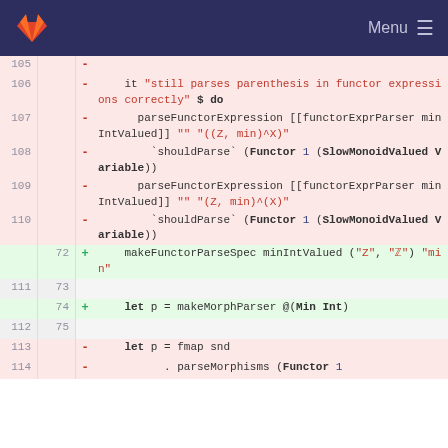Menu
[Figure (screenshot): GitLab diff view showing code changes in a Haskell test file. Lines 105-114 show removed lines (red background) and lines 72-75 show added lines (green background). The code involves parseFunctorExpression, shouldParse, makeFunctorParseSpec, makeMorphParser, and fmap operations.]